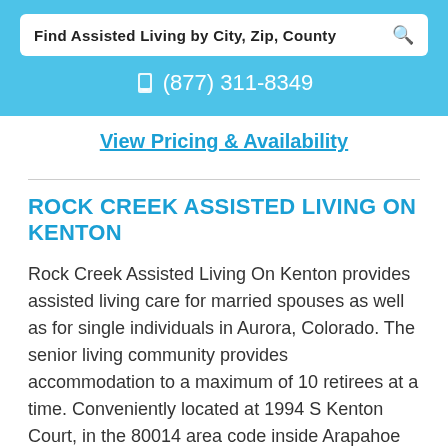Find Assisted Living by City, Zip, County
(877) 311-8349
View Pricing & Availability
ROCK CREEK ASSISTED LIVING ON KENTON
Rock Creek Assisted Living On Kenton provides assisted living care for married spouses as well as for single individuals in Aurora, Colorado. The senior living community provides accommodation to a maximum of 10 retirees at a time. Conveniently located at 1994 S Kenton Court, in the 80014 area code inside Arapahoe county, Rock Creek Assisted Living On Kenton offers assistance and support in